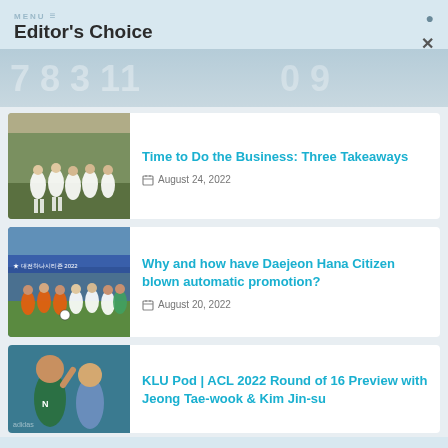MENU  Editor's Choice
[Figure (photo): Background image showing football/soccer scoreboard or stadium with numbers]
[Figure (photo): Football players in white jerseys huddled together on a pitch]
Time to Do the Business: Three Takeaways
August 24, 2022
[Figure (photo): Football players in orange and white jerseys lined up before a match with Korean stadium signage in background]
Why and how have Daejeon Hana Citizen blown automatic promotion?
August 20, 2022
[Figure (photo): Football player in green jersey facing camera, another player in light blue jersey in background]
KLU Pod | ACL 2022 Round of 16 Preview with Jeong Tae-wook & Kim Jin-su